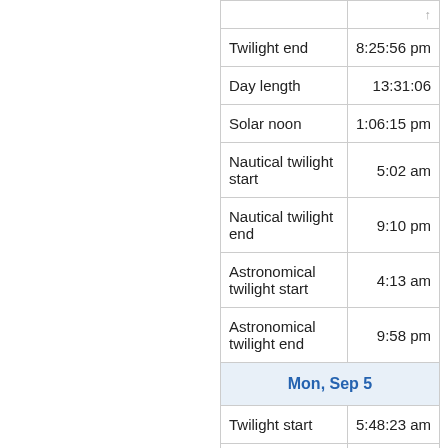| Event | Time |
| --- | --- |
| Twilight end | 8:25:56 pm |
| Day length | 13:31:06 |
| Solar noon | 1:06:15 pm |
| Nautical twilight start | 5:02 am |
| Nautical twilight end | 9:10 pm |
| Astronomical twilight start | 4:13 am |
| Astronomical twilight end | 9:58 pm |
| Mon, Sep 5 |  |
| Twilight start | 5:48:23 am |
| ... | ... |